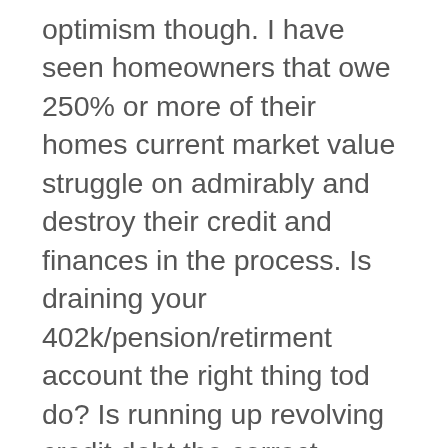optimism though. I have seen homeowners that owe 250% or more of their homes current market value struggle on admirably and destroy their credit and finances in the process. Is draining your 402k/pension/retirment account the right thing tod do? Is running up revolving credit debt the correct course of action to take in order to pay for living expenses and maintain payments on an investment that has plummeted in value? This, of course, is a very personal question that only you can answer if you are struggling to make your